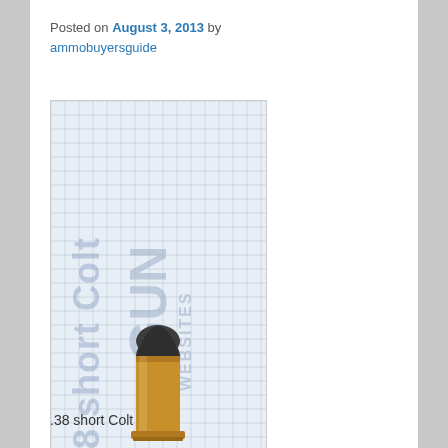Posted on August 3, 2013 by ammobuyersguide
[Figure (photo): A .38 short Colt cartridge/bullet photographed against a grid background. The bullet has a brass casing and dark lead tip. Watermark text reads '.38 short Colt' and 'GUN WEBSITES'.]
.38 short Colt